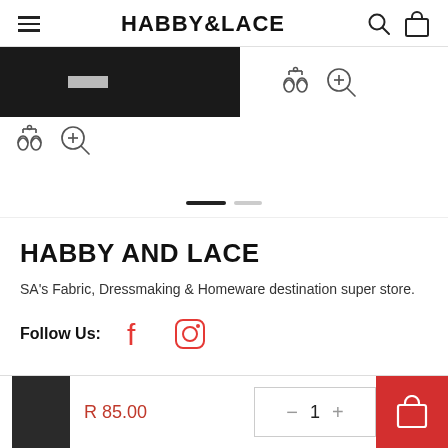HABBY&LACE
[Figure (screenshot): Product image strip showing a dark fabric image on the left with compare and zoom icons, and compare/zoom icons on the right side. Below are two carousel navigation dots.]
HABBY AND LACE
SA's Fabric, Dressmaking & Homeware destination super store.
Follow Us:
R 85.00  1